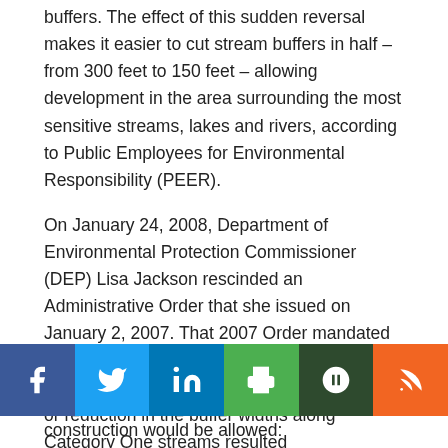buffers. The effect of this sudden reversal makes it easier to cut stream buffers in half – from 300 feet to 150 feet – allowing development in the area surrounding the most sensitive streams, lakes and rivers, according to Public Employees for Environmental Responsibility (PEER).
On January 24, 2008, Department of Environmental Protection Commissioner (DEP) Lisa Jackson rescinded an Administrative Order that she issued on January 2, 2007. That 2007 Order mandated that developers conduct a strict scientific demonstration to prove that any disturbance or reduction in the buffer widths along Category One streams resulted
[Figure (infographic): Social media sharing bar with icons: Facebook (blue), Twitter (light blue), LinkedIn (blue), Print (green), Dark green button, RSS (orange)]
construction would be allowed: